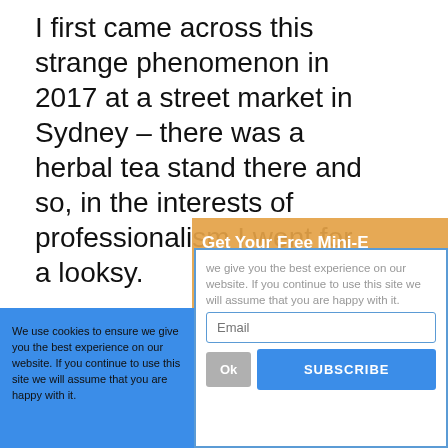I first came across this strange phenomenon in 2017 at a street market in Sydney – there was a herbal tea stand there and so, in the interests of professionalism I went for a looksy.
[Figure (infographic): Orange/amber overlay banner with white bold italic text promoting a free mini-e-book newsletter signup with exclusive bonus. Behind it is a stylized pink figure on orange background.]
I was expecting to see the normal 50 Shades of Matcha but boy was I surprised.
We use cookies to ensure we give you the best experience on our website. If you continue to use this site we will assume that you are happy with it.
Email
SUBSCRIBE